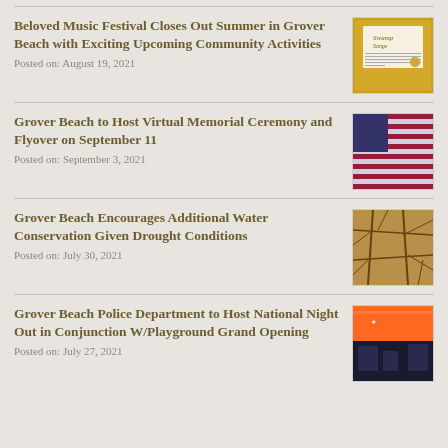Beloved Music Festival Closes Out Summer in Grover Beach with Exciting Upcoming Community Activities
Posted on: August 19, 2021
Grover Beach to Host Virtual Memorial Ceremony and Flyover on September 11
Posted on: September 3, 2021
Grover Beach Encourages Additional Water Conservation Given Drought Conditions
Posted on: July 30, 2021
Grover Beach Police Department to Host National Night Out in Conjunction W/Playground Grand Opening
Posted on: July 27, 2021